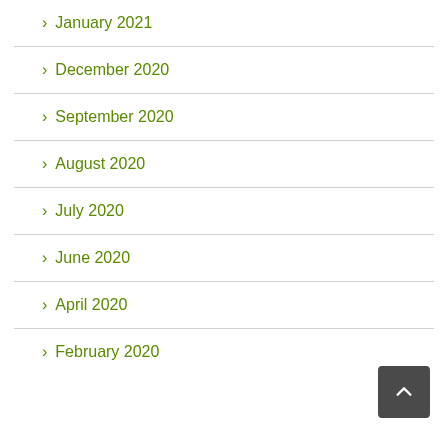> January 2021
> December 2020
> September 2020
> August 2020
> July 2020
> June 2020
> April 2020
> February 2020